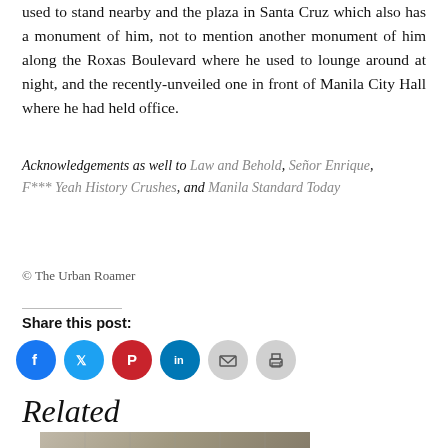used to stand nearby and the plaza in Santa Cruz which also has a monument of him, not to mention another monument of him along the Roxas Boulevard where he used to lounge around at night, and the recently-unveiled one in front of Manila City Hall where he had held office.
Acknowledgements as well to Law and Behold, Señor Enrique, F*** Yeah History Crushes, and Manila Standard Today
© The Urban Roamer
Share this post:
[Figure (infographic): Row of six social media share icon circles: Facebook (blue), Twitter (teal/blue), Pinterest (red), LinkedIn (blue), Email (gray), Print (gray)]
Related
[Figure (photo): Partial photo of a building exterior with a Victory sign visible]